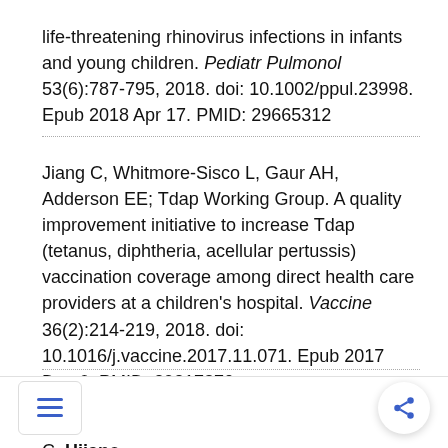life-threatening rhinovirus infections in infants and young children. Pediatr Pulmonol 53(6):787-795, 2018. doi: 10.1002/ppul.23998. Epub 2018 Apr 17. PMID: 29665312
Jiang C, Whitmore-Sisco L, Gaur AH, Adderson EE; Tdap Working Group. A quality improvement initiative to increase Tdap (tetanus, diphtheria, acellular pertussis) vaccination coverage among direct health care providers at a children's hospital. Vaccine 36(2):214-219, 2018. doi: 10.1016/j.vaccine.2017.11.071. Epub 2017 Dec 6. PMID: 29217370
Talarico LB, Batalle JP, Byrne AB, Brahamian JM, Ferretti A, García AG, Mauri A, Simonetto C. Hijano